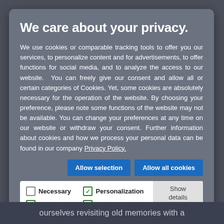We care about your privacy.
We use cookies or comparable tracking tools to offer you our services, to personalize content and for advertisements, to offer functions for social media, and to analyze the access to our website.  You can freely give our consent and allow all or certain categories of Cookies. Yet, some cookies are absolutely necessary for the operation of the website. By choosing your preference, please note some functions of the website may not be available. You can change your preferences at any time on our website or withdraw your consent. Further information about cookies and how we process your personal data can be found in our company Privacy Policy.
Allow selection | Allow all cookies
Necessary  Personalization  Analytics  Marketing  Show details
ourselves revisiting old memories with a